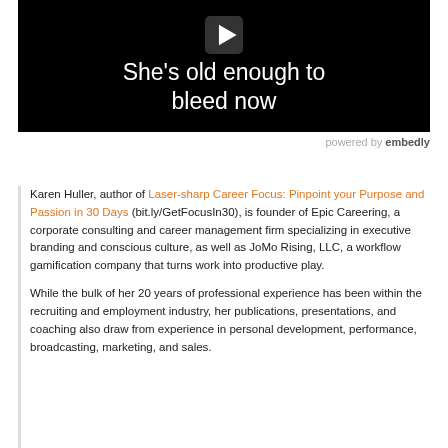[Figure (screenshot): Video thumbnail with black background, play button icon, and white text reading 'She's old enough to bleed now']
powered by embedly
Karen Huller, author of Laser-sharp Career Focus: Pinpoint your Purpose and Passion in 30 Days (bit.ly/GetFocusIn30), is founder of Epic Careering, a corporate consulting and career management firm specializing in executive branding and conscious culture, as well as JoMo Rising, LLC, a workflow gamification company that turns work into productive play.
While the bulk of her 20 years of professional experience has been within the recruiting and employment industry, her publications, presentations, and coaching also draw from experience in personal development, performance, broadcasting, marketing, and sales.